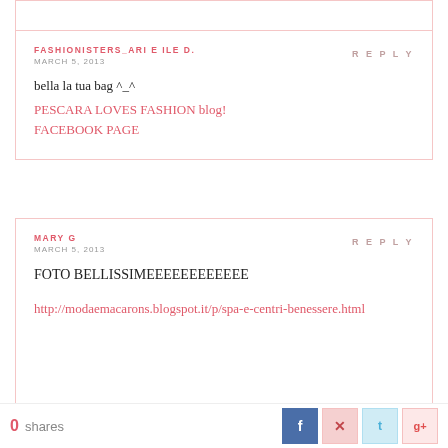FASHIONISTERS_ARI E ILE D. — MARCH 5, 2013 — REPLY
bella la tua bag ^_^
PESCARA LOVES FASHION blog!
FACEBOOK PAGE
MARY G — MARCH 5, 2013 — REPLY
FOTO BELLISSIMEEEEEEEEEEEE

http://modaemacarons.blogspot.it/p/spa-e-centri-benessere.html
0 shares